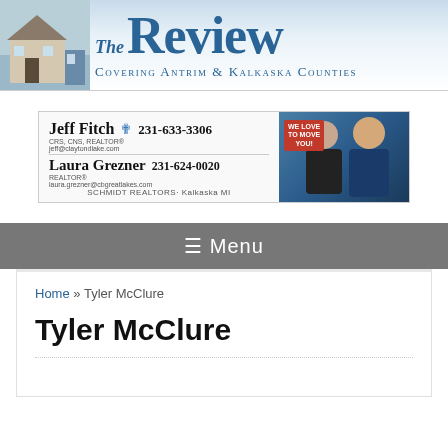[Figure (logo): The Review newspaper logo with house image - Covering Antrim & Kalkaska Counties]
[Figure (photo): Advertisement for Jeff Fitch (CRS, CNS, REALTOR 231-633-3306) and Laura Grezner (REALTOR 231-624-0020) at Schmidt Realtors, Kalkaska MI, with photos of the agents]
☰ Menu
Home » Tyler McClure
Tyler McClure